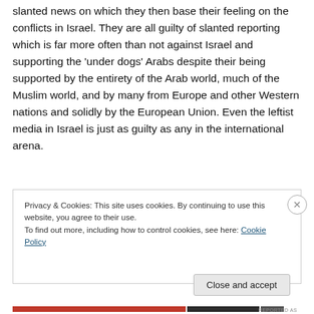slanted news on which they then base their feeling on the conflicts in Israel. They are all guilty of slanted reporting which is far more often than not against Israel and supporting the 'under dogs' Arabs despite their being supported by the entirety of the Arab world, much of the Muslim world, and by many from Europe and other Western nations and solidly by the European Union. Even the leftist media in Israel is just as guilty as any in the international arena.
Privacy & Cookies: This site uses cookies. By continuing to use this website, you agree to their use. To find out more, including how to control cookies, see here: Cookie Policy